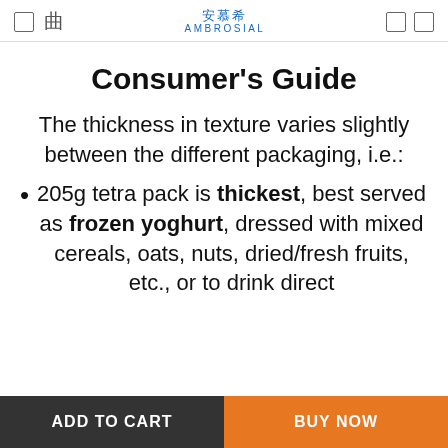安慕希 AMBROSIAL
Consumer's Guide
The thickness in texture varies slightly between the different packaging, i.e.:
205g tetra pack is thickest, best served as frozen yoghurt, dressed with mixed cereals, oats, nuts, dried/fresh fruits, etc., or to drink direct
ADD TO CART   BUY NOW